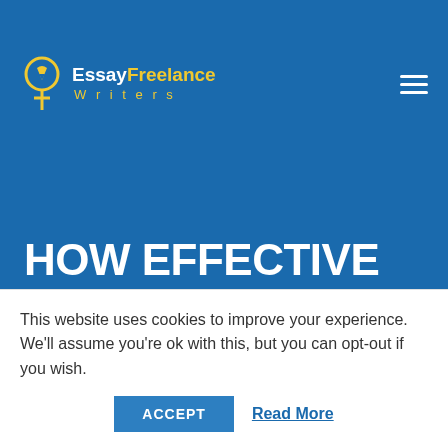[Figure (logo): EssayFreelance Writers logo with circular pen nib icon in yellow/gold, text 'Essay' in white bold, 'Freelance' in yellow bold, 'Writers' in yellow spaced letters below]
HOW EFFECTIVE IS COMMUNITY COLLEGE?-OUTLINE
Oct 24, 2018  |  0 comments
This website uses cookies to improve your experience. We'll assume you're ok with this, but you can opt-out if you wish.
ACCEPT  Read More